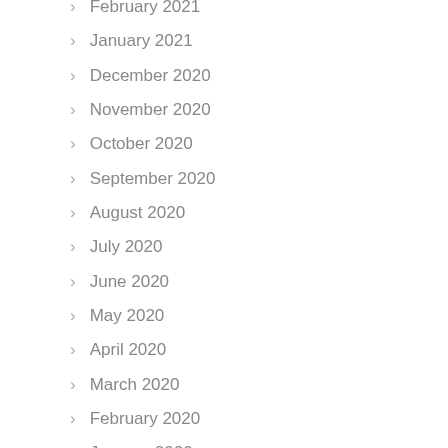February 2021
January 2021
December 2020
November 2020
October 2020
September 2020
August 2020
July 2020
June 2020
May 2020
April 2020
March 2020
February 2020
January 2020